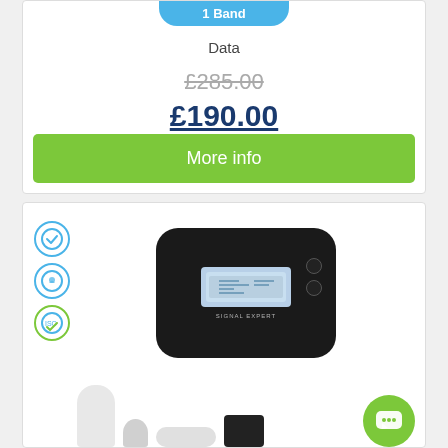1 Band
Data
£285.00
£190.00
You save £95.00
More info
[Figure (photo): Product photo of a Signal Expert mobile signal booster device (black box with LCD screen) and accessories including antenna, cable and power adapter]